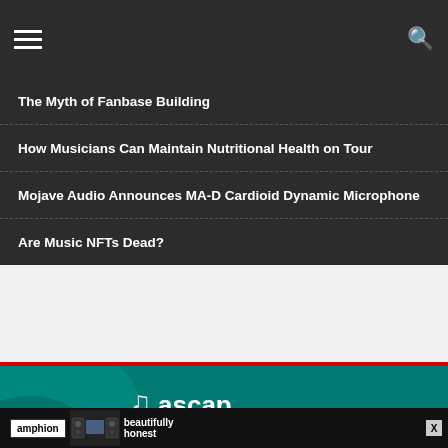Navigation menu and search
The Myth of Fanbase Building
How Musicians Can Maintain Nutritional Health on Tour
Mojave Audio Announces MA-D Cardioid Dynamic Microphone
Are Music NFTs Dead?
[Figure (screenshot): LATEST NEWS banner with teal background showing ASCAP Experience logo text in white on a teal/green background]
[Figure (screenshot): Amphion advertisement banner showing speaker monitors and text 'beautifully honest' with amphion.fi URL]